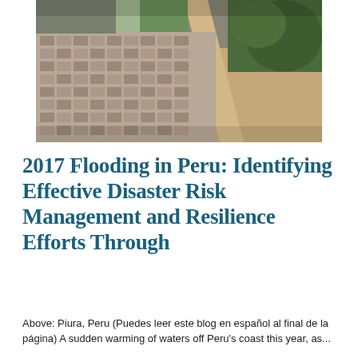[Figure (photo): Aerial photograph of Piura, Peru showing dense urban housing, sandy terrain, a dry riverbed or road cutting through the landscape, and green vegetation in the upper right corner.]
2017 Flooding in Peru: Identifying Effective Disaster Risk Management and Resilience Efforts Through
Above: Piura, Peru (Puedes leer este blog en español al final de la página) A sudden warming of waters off Peru's coast this year, as...